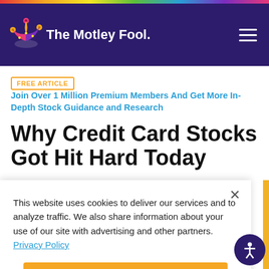The Motley Fool
FREE ARTICLE  Join Over 1 Million Premium Members And Get More In-Depth Stock Guidance and Research
Why Credit Card Stocks Got Hit Hard Today
This website uses cookies to deliver our services and to analyze traffic. We also share information about your use of our site with advertising and other partners. Privacy Policy
Got it
Cookie Settings